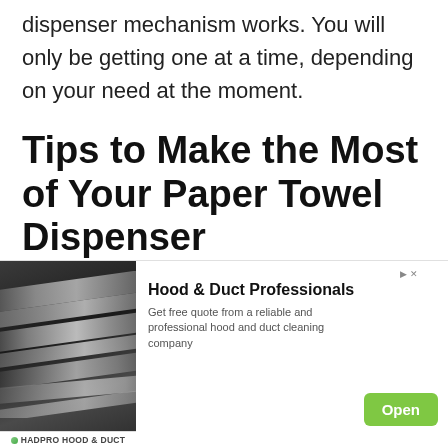dispenser mechanism works. You will only be getting one at a time, depending on your need at the moment.
Tips to Make the Most of Your Paper Towel Dispenser
Paper towel dispensers are also available in the market, but why buy when you can make your own customized dispenser? Besides knowing how to make paper towel dispenser, it is also worth considering some tips to make the most
[Figure (photo): Advertisement banner for Hood & Duct Professionals showing a photo of ductwork, with text 'Get free quote from a reliable and professional hood and duct cleaning company' and an Open button]